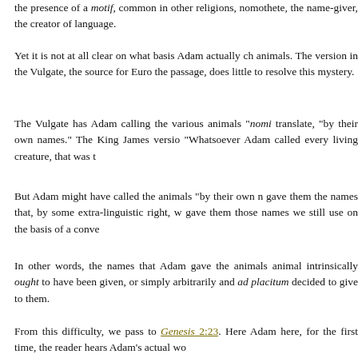the presence of a motif, common in other religions, nomothete, the name-giver, the creator of language.
Yet it is not at all clear on what basis Adam actually ch animals. The version in the Vulgate, the source for Euro the passage, does little to resolve this mystery.
The Vulgate has Adam calling the various animals "nomi translate, "by their own names." The King James versio "Whatsoever Adam called every living creature, that was t
But Adam might have called the animals "by their own n gave them the names that, by some extra-linguistic right, w gave them those names we still use on the basis of a conve
In other words, the names that Adam gave the animals animal intrinsically ought to have been given, or simply arbitrarily and ad placitum decided to give to them.
From this difficulty, we pass to Genesis 2:23. Here Adam here, for the first time, the reader hears Adam's actual wo